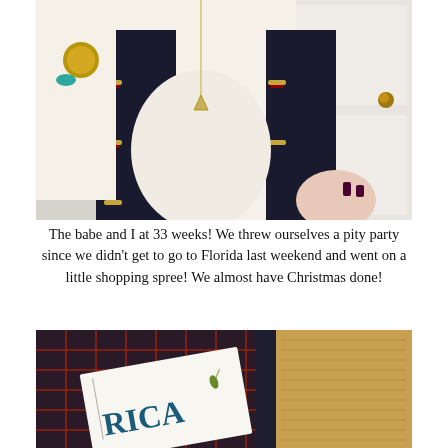[Figure (photo): A pregnant woman in a white sweater and dark quilted vest with toggle buttons, wearing a gold watch with turquoise stone, multiple rings, and a long necklace with a pendant. She is standing in front of a white door with gold hardware. Her nails are painted dark red/burgundy.]
The babe and I at 33 weeks!  We threw ourselves a pity party since we didn't get to go to Florida last weekend and went on a little shopping spree!  We almost have Christmas done!
[Figure (photo): Close-up of a red and navy plaid fabric/scarf alongside a tan/gold knit fabric, with a notepad or card showing partial letters 'RICA' visible, likely part of 'AMERICA' text with a decorative wheat/leaf design.]